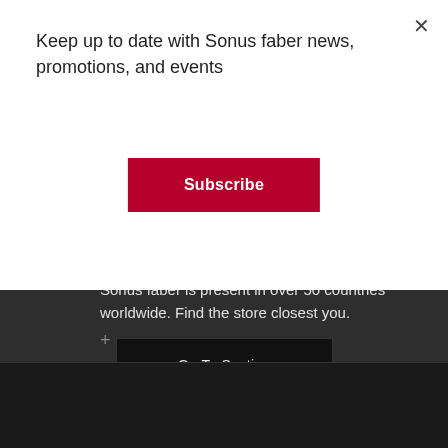Keep up to date with Sonus faber news, promotions, and events
Subscribe
Sonus faber is present in over 50 countries worldwide. Find the store closest you.
Go To Section
Technical and third-party cookies are used on this site. For more information on how to select or decline cookies, please read our Cookie Policy. By clicking the "Accept" button you consent to the use of third-party cookies.
Settings
Accept
Reject